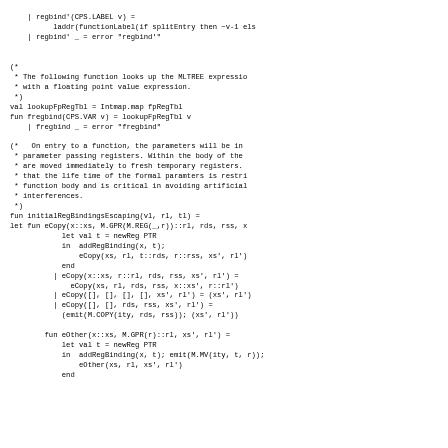| regbind'(CPS.LABEL v) =
        laddr(functionLabel(if splitEntry then ~v-1 els
    | regbind' _ = error "regbind'"


(*
 * The following function looks up the MLTREE expressio
 * with a floating point value expression.
 *)
val lookupFpRegTbl = Intmap.map fpRegTbl
fun fregbind(CPS.VAR v) = lookupFpRegTbl v
    | fregbind _ = error "fregbind"

(*   On entry to a function, the parameters will be in
 * parameter passing registers. Within the body of the
 * are moved immediately to fresh temporary registers.
 * that the life time of the formal paramters is restri
 * function body and is critical in avoiding artificial
 * interferences.
 *)
fun initialRegBindingsEscaping(vl, rl, tl) =
let fun eCopy(x::xs, M.GPR(M.REG(_,r))::rl, rds, rss, x
            let val t = newReg PTR
            in  addRegBinding(x, t);
                eCopy(xs, rl, t::rds, r::rss, xs', rl')
            end
          | eCopy(x::xs, r::rl, rds, rss, xs', rl') =
              eCopy(xs, rl, rds, rss, x::xs', r::rl')
          | eCopy([], [], [], [], xs', rl') = (xs', rl')
          | eCopy([], [], rds, rss, xs', rl') =
            (emit(M.COPY(ity, rds, rss)); (xs', rl'))

        fun eOther(x::xs, M.GPR(r)::rl, xs', rl') =
            let val t = newReg PTR
            in  addRegBinding(x, t); emit(M.MV(ity, t, r));
                eOther(xs, rl, xs', rl')
            end